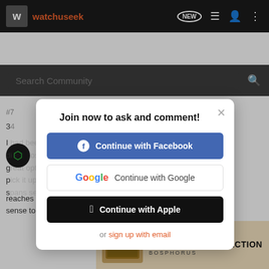watchuseek — navigation bar with search
kramer5150 · Registered 🇺🇸
Background forum post text (partially obscured by modal)
[Figure (screenshot): Modal dialog: Join now to ask and comment! with buttons: Continue with Facebook, Continue with Google, Continue with Apple, or sign up with email]
[Figure (other): Ad banner: LIMITED EDITION CROCODILE COLLECTION BOSPHORUS with watch image]